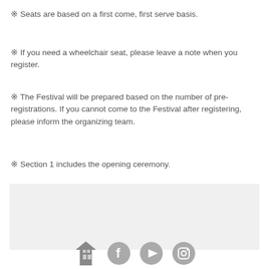※ Seats are based on a first come, first serve basis.
※ If you need a wheelchair seat, please leave a note when you register.
※ The Festival will be prepared based on the number of pre-registrations. If you cannot come to the Festival after registering, please inform the organizing team.
※ Section 1 includes the opening ceremony.
[Figure (other): Gray placeholder box]
[Figure (other): Footer icons: building logo, Facebook, YouTube, Instagram]